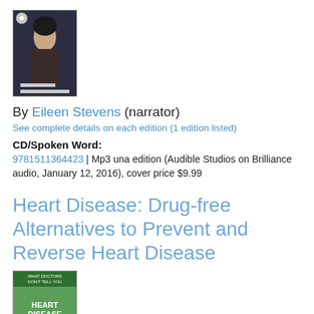[Figure (photo): Book cover of Sick Girl audiobook]
By Eileen Stevens (narrator)
See complete details on each edition (1 edition listed)
CD/Spoken Word:
9781511364423 | Mp3 una edition (Audible Studios on Brilliance audio, January 12, 2016), cover price $9.99
Heart Disease: Drug-free Alternatives to Prevent and Reverse Heart Disease
[Figure (photo): Book cover of Heart Disease: Drug-free Alternatives]
By Lynne McTaggart (editor)
See complete details on each edition (2 editions listed)